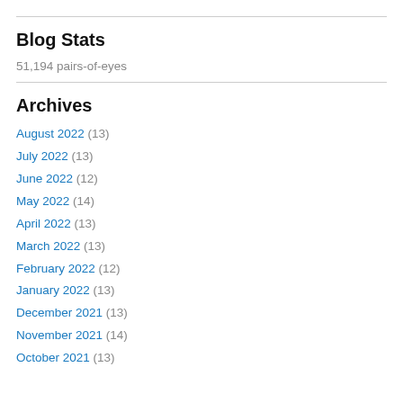Blog Stats
51,194 pairs-of-eyes
Archives
August 2022 (13)
July 2022 (13)
June 2022 (12)
May 2022 (14)
April 2022 (13)
March 2022 (13)
February 2022 (12)
January 2022 (13)
December 2021 (13)
November 2021 (14)
October 2021 (13)